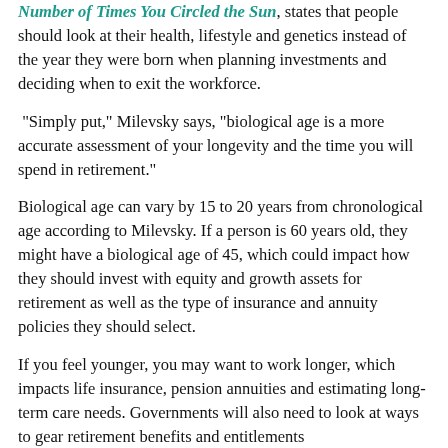Number of Times You Circled the Sun, states that people should look at their health, lifestyle and genetics instead of the year they were born when planning investments and deciding when to exit the workforce.
“Simply put,” Milevsky says, “biological age is a more accurate assessment of your longevity and the time you will spend in retirement.”
Biological age can vary by 15 to 20 years from chronological age according to Milevsky. If a person is 60 years old, they might have a biological age of 45, which could impact how they should invest with equity and growth assets for retirement as well as the type of insurance and annuity policies they should select.
If you feel younger, you may want to work longer, which impacts life insurance, pension annuities and estimating long-term care needs. Governments will also need to look at ways to gear retirement benefits and entitlements